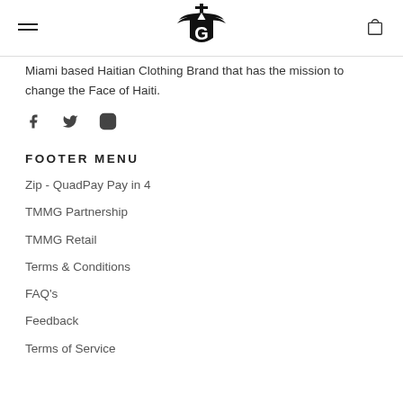[Navigation header with hamburger menu, TMMG logo, and cart icon]
Miami based Haitian Clothing Brand that has the mission to change the Face of Haiti.
[Figure (other): Social media icons: Facebook, Twitter, Instagram]
FOOTER MENU
Zip - QuadPay Pay in 4
TMMG Partnership
TMMG Retail
Terms & Conditions
FAQ's
Feedback
Terms of Service